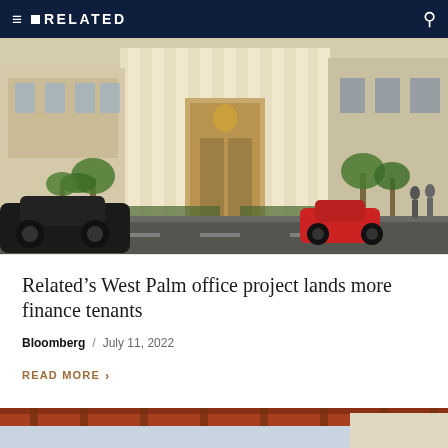RELATED
[Figure (photo): Architectural rendering of Related's West Palm Beach office building exterior — a modern multi-story glass and stone tower entrance with palm trees, luxury cars, and pedestrians]
Related's West Palm office project lands more finance tenants
Bloomberg / July 11, 2022
READ MORE
[Figure (photo): Partial view of another building exterior with red/orange architectural elements]